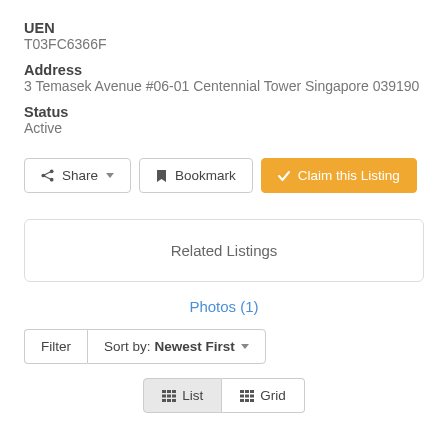UEN
T03FC6366F
Address
3 Temasek Avenue #06-01 Centennial Tower Singapore 039190
Status
Active
Share   Bookmark   Claim this Listing
Related Listings
Photos (1)
Filter  Sort by: Newest First
List  Grid